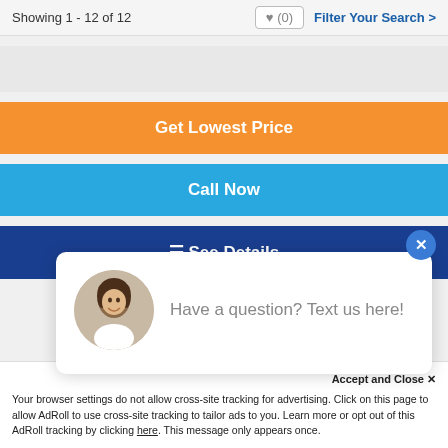Showing 1 - 12 of 12   ♥ (0)   Filter Your Search >
[Figure (screenshot): Orange 'Get Lowest Price' button]
[Figure (screenshot): Light blue 'Call Now' button]
[Figure (screenshot): Dark navy 'See Details' button with list icon]
[Figure (screenshot): Chat popup with avatar photo and text: Have a question? Text us here!]
Accept and Close ×
Your browser settings do not allow cross-site tracking for advertising. Click on this page to allow AdRoll to use cross-site tracking to tailor ads to you. Learn more or opt out of this AdRoll tracking by clicking here. This message only appears once.